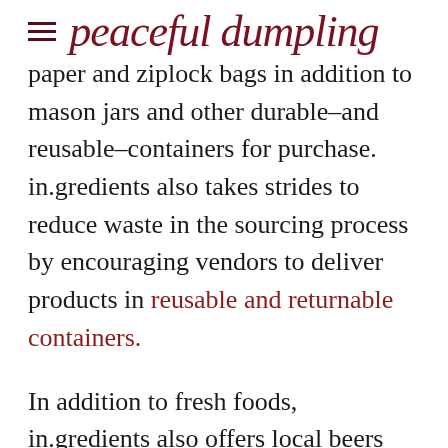peaceful dumpling
paper and ziplock bags in addition to mason jars and other durable–and reusable–containers for purchase. in.gredients also takes strides to reduce waste in the sourcing process by encouraging vendors to deliver products in reusable and returnable containers.
In addition to fresh foods, in.gredients also offers local beers and wines, cold brew coffee, kombucha, and sodas on tap, plus a delicious menu of local food offerings.
Since the inception of in.gredients, several package-